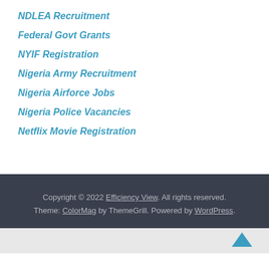NDLEA Recruitment
Federal Govt Grants
NYIF Registration
Nigeria Army Recruitment
Nigeria Airforce Jobs
Nigeria Police Vacancies
Netflix Movie Registration
Copyright © 2022 Efficiency View. All rights reserved. Theme: ColorMag by ThemeGrill. Powered by WordPress.